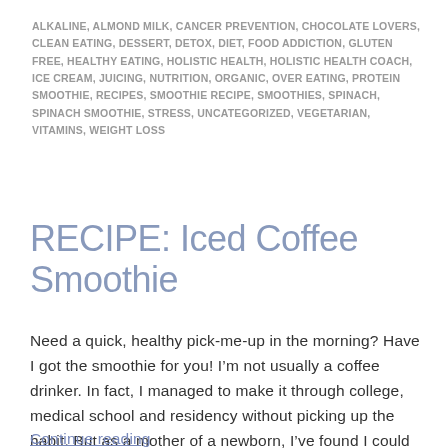ALKALINE, ALMOND MILK, CANCER PREVENTION, CHOCOLATE LOVERS, CLEAN EATING, DESSERT, DETOX, DIET, FOOD ADDICTION, GLUTEN FREE, HEALTHY EATING, HOLISTIC HEALTH, HOLISTIC HEALTH COACH, ICE CREAM, JUICING, NUTRITION, ORGANIC, OVER EATING, PROTEIN SMOOTHIE, RECIPES, SMOOTHIE RECIPE, SMOOTHIES, SPINACH, SPINACH SMOOTHIE, STRESS, UNCATEGORIZED, VEGETARIAN, VITAMINS, WEIGHT LOSS
RECIPE: Iced Coffee Smoothie
Need a quick, healthy pick-me-up in the morning? Have I got the smoothie for you! I’m not usually a coffee drinker. In fact, I managed to make it through college, medical school and residency without picking up the habit. But as a mother of a newborn, I’ve found I could use a little more “Get-Up-And-Go” in the mornings. So I created this healthy iced coffee ...
Continue reading